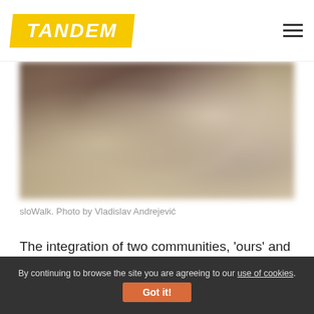TANDEM
[Figure (photo): A blurred outdoor photograph, likely showing people or a street scene, with warm brown and beige tones. Used as article header image for a sloWalk article.]
sloWalk. Photo by Vladislav Andrejević
The integration of two communities, 'ours' and that of 'the migrants', is a two-way street, and participatory art presents opportunities to create social cohesion, based on the assumption that social groups within a society fragmented by politics of identities made through nationality, religion and
By continuing to browse the site you are agreeing to our use of cookies. Got it!